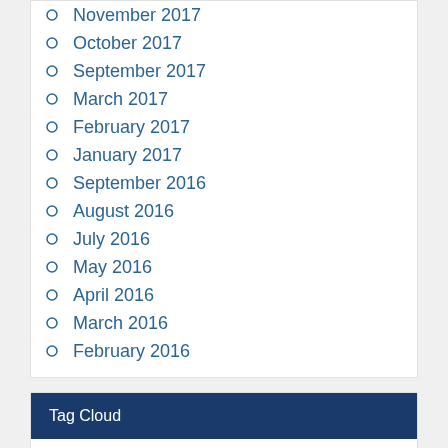November 2017
October 2017
September 2017
March 2017
February 2017
January 2017
September 2016
August 2016
July 2016
May 2016
April 2016
March 2016
February 2016
Tag Cloud
Alex Ross Aquaman Avengers Batman Best of Bill Finger Bill Jemas Comic Books Comic Conventions Cosplay Dave Sim Diamond Comics